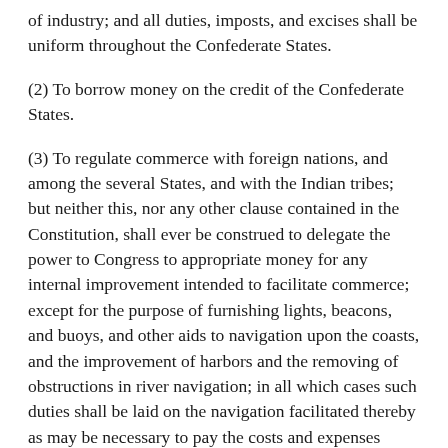of industry; and all duties, imposts, and excises shall be uniform throughout the Confederate States.
(2) To borrow money on the credit of the Confederate States.
(3) To regulate commerce with foreign nations, and among the several States, and with the Indian tribes; but neither this, nor any other clause contained in the Constitution, shall ever be construed to delegate the power to Congress to appropriate money for any internal improvement intended to facilitate commerce; except for the purpose of furnishing lights, beacons, and buoys, and other aids to navigation upon the coasts, and the improvement of harbors and the removing of obstructions in river navigation; in all which cases such duties shall be laid on the navigation facilitated thereby as may be necessary to pay the costs and expenses thereof.
(4) To establish uniform laws of naturalization, and uniform laws on the subject of bankruptcies, throughout the Confederate States; but no law of Congress shall discharge any debt contracted before the passage of the same.